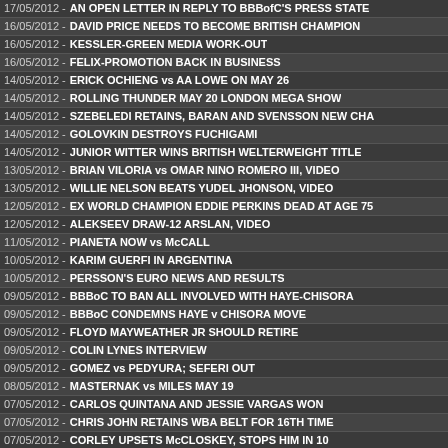17/05/2012 - AN OPEN LETTER IN REPLY TO BBBofC'S PRESS STATE
16/05/2012 - DAVID PRICE NEEDS TO BECOME BRITISH CHAMPION
16/05/2012 - KESSLER-GREEN MEDIA WORK-OUT
16/05/2012 - FELIX-PROMOTION BACK IN BUSINESS
14/05/2012 - ERICK OCHIENG vs AA LOWE ON MAY 26
14/05/2012 - ROLLING THUNDER MAY 20 LONDON MEGA SHOW
14/05/2012 - SZEBELEDI RETAINS, BARAN AND SVENSSON NEW CHA
14/05/2012 - GOLOVKIN DESTROYS FUCHIGAMI
14/05/2012 - JUNIOR WITTER WINS BRITISH WELTERWEIGHT TITLE
13/05/2012 - BRIAN VILORIA vs OMAR NINO ROMERO III, VIDEO
13/05/2012 - WILLIE NELSON BEATS YUDEL JHONSON, VIDEO
12/05/2012 - EX WORLD CHAMPION EDDIE PERKINS DEAD AT AGE 75
12/05/2012 - ALEKSEEV DRAW-12 ARSLAN, VIDEO
11/05/2012 - PIANETA NOW vs McCALL
10/05/2012 - KARIM GUERFI IN ARGENTINA
10/05/2012 - PERSSON'S EURO NEWS AND RESULTS
09/05/2012 - BBBoC TO BAN ALL INVOLVED WITH HAYE-CHISORA
09/05/2012 - BBBoC CONDEMNS HAYE v CHISORA MOVE
09/05/2012 - FLOYD MAYWEATHER JR SHOULD RETIRE
09/05/2012 - COLIN LYNES INTERVIEW
09/05/2012 - GOMEZ vs PEDYURA; SEFERI OUT
08/05/2012 - MASTERNAK vs MILES MAY 19
07/05/2012 - CARLOS QUINTANA AND JESSIE VARGAS WON
07/05/2012 - CHRIS JOHN RETAINS WBA BELT FOR 16TH TIME
07/05/2012 - CORLEY UPSETS McCLOSKEY, STOPS HIM IN 10
07/05/2012 - STIEGLITZ vs ABRAHAM AUG 25